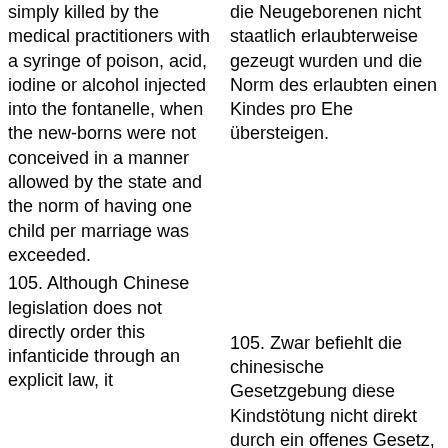simply killed by the medical practitioners with a syringe of poison, acid, iodine or alcohol injected into the fontanelle, when the new-borns were not conceived in a manner allowed by the state and the norm of having one child per marriage was exceeded.
die Neugeborenen nicht staatlich erlaubterweise gezeugt wurden und die Norm des erlaubten einen Kindes pro Ehe übersteigen.
105. Although Chinese legislation does not directly order this infanticide through an explicit law, it
105. Zwar befiehlt die chinesische Gesetzgebung diese Kindstötung nicht direkt durch ein offenes Gesetz, doch sie toleriert diese übliche Praxis ebenso, wie dass unerwünschte Kinder aller Art in sogenannten